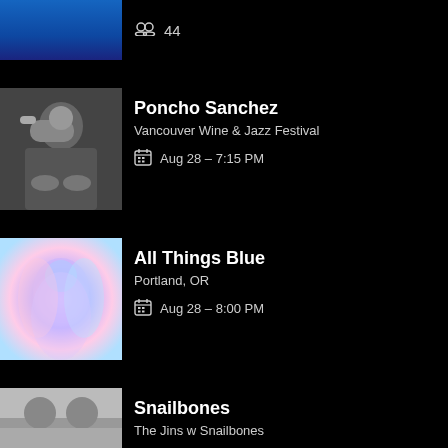44
Poncho Sanchez
Vancouver Wine & Jazz Festival
Aug 28 – 7:15 PM
All Things Blue
Portland, OR
Aug 28 – 8:00 PM
Snailbones
The Jins w Snailbones